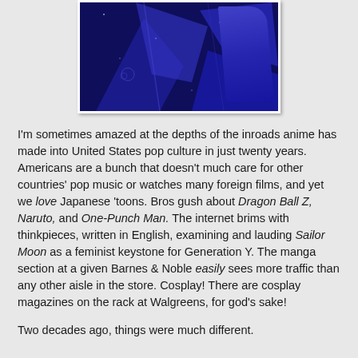[Figure (photo): Dark blue anime-style image showing abstract or mechanical shapes with deep blue and purple tones]
I'm sometimes amazed at the depths of the inroads anime has made into United States pop culture in just twenty years. Americans are a bunch that doesn't much care for other countries' pop music or watches many foreign films, and yet we love Japanese 'toons. Bros gush about Dragon Ball Z, Naruto, and One-Punch Man. The internet brims with thinkpieces, written in English, examining and lauding Sailor Moon as a feminist keystone for Generation Y. The manga section at a given Barnes & Noble easily sees more traffic than any other aisle in the store. Cosplay! There are cosplay magazines on the rack at Walgreens, for god's sake!
Two decades ago, things were much different.